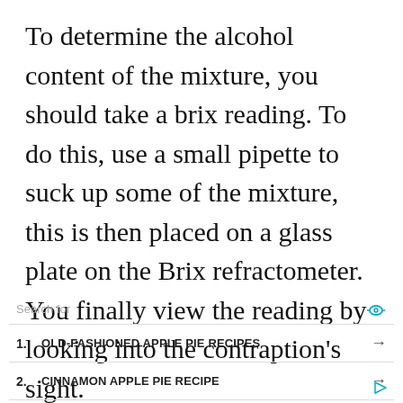To determine the alcohol content of the mixture, you should take a brix reading. To do this, use a small pipette to suck up some of the mixture, this is then placed on a glass plate on the Brix refractometer. You finally view the reading by looking into the contraption's sight.
Search for
1. OLD-FASHIONED APPLE PIE RECIPES →
2. CINNAMON APPLE PIE RECIPE →